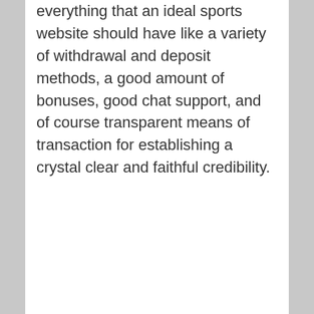Best sports betting site can be the one that offers everything that an ideal sports website should have like a variety of withdrawal and deposit methods, a good amount of bonuses, good chat support, and of course transparent means of transaction for establishing a crystal clear and faithful credibility.